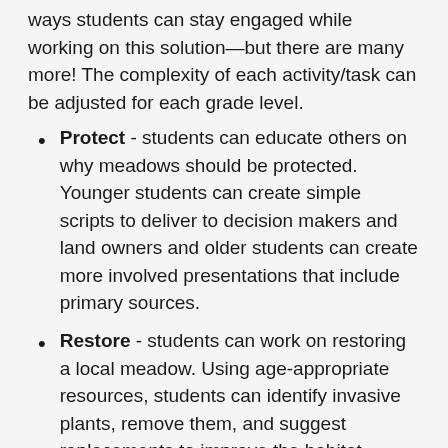ways students can stay engaged while working on this solution—but there are many more! The complexity of each activity/task can be adjusted for each grade level.
Protect - students can educate others on why meadows should be protected. Younger students can create simple scripts to deliver to decision makers and land owners and older students can create more involved presentations that include primary sources.
Restore - students can work on restoring a local meadow. Using age-appropriate resources, students can identify invasive plants, remove them, and suggest replacements to improve the habitat.